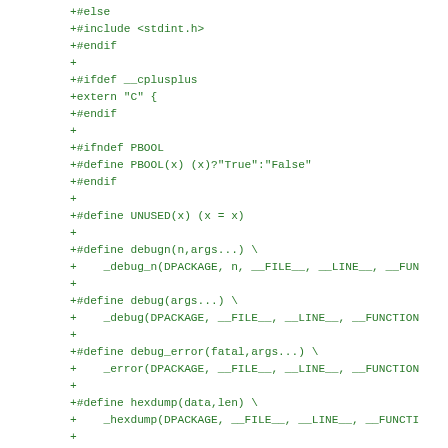+#else
+#include <stdint.h>
+#endif
+
+#ifdef __cplusplus
+extern "C" {
+#endif
+
+#ifndef PBOOL
+#define PBOOL(x) (x)?"True":"False"
+#endif
+
+#define UNUSED(x) (x = x)
+
+#define debugn(n,args...) \
+    _debug_n(DPACKAGE, n, __FILE__, __LINE__, __FUN
+
+#define debug(args...) \
+    _debug(DPACKAGE, __FILE__, __LINE__, __FUNCTION
+
+#define debug_error(fatal,args...) \
+    _error(DPACKAGE, __FILE__, __LINE__, __FUNCTION
+
+#define hexdump(data,len) \
+    _hexdump(DPACKAGE, __FILE__, __LINE__, __FUNCTI
+
+#define hexdumpn(n,data,len) \
+    _hexdump_n(DPACKAGE, n, __FILE__, __LINE__, __FU
+
+#define hexdump_text(text,data,len) \